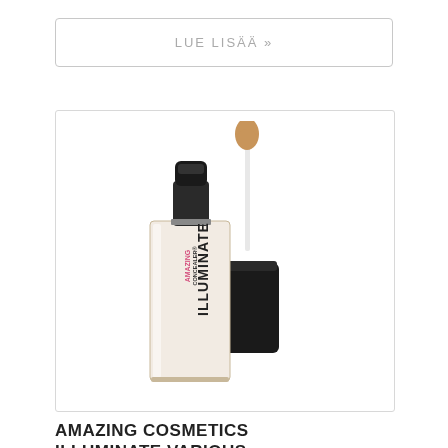LUE LISÄÄ »
[Figure (photo): Product photo of Amazing Cosmetics Illuminate concealer bottle open with applicator wand showing tan/beige concealer tip, and closed black cap beside it. Bottle is clear with pink and black label reading AMAZING CONCEALER ILLUMINATE.]
AMAZING COSMETICS ILLUMINATE VARIOUS